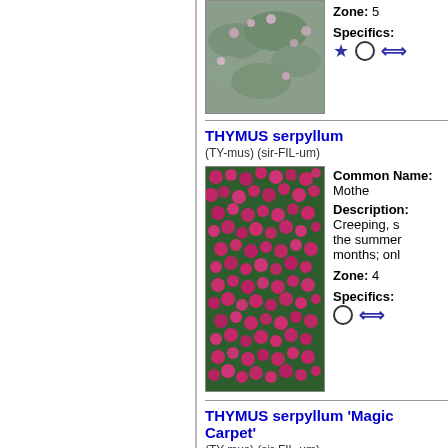[Figure (photo): Top partial plant entry photo - grayish-green creeping plant with small pink flowers]
Zone: 5
Specifics: ★ ○ ⟺
THYMUS serpyllum
(TY-mus) (sir-FIL-um)
[Figure (photo): Dense mat of Thymus serpyllum with bright magenta/pink flowers covering the plant]
Common Name: Mothe...
Description: Creeping, s... the summer months; onl...
Zone: 4
Specifics: ○ ⟺
THYMUS serpyllum 'Magic Carpet'
(TY-mus) (sir-FIL-um)
[Figure (photo): Thymus serpyllum Magic Carpet with carmine pink flowers]
Common Name:
Description: Slightly wo... a sea of carmine pink fro...